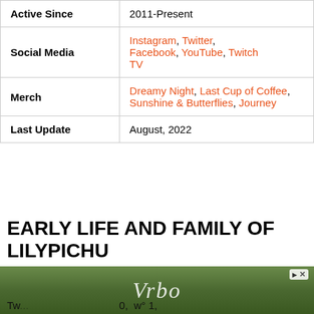|  |  |
| --- | --- |
| Active Since | 2011-Present |
| Social Media | Instagram, Twitter, Facebook, YouTube, Twitch TV |
| Merch | Dreamy Night, Last Cup of Coffee, Sunshine & Butterflies, Journey |
| Last Update | August, 2022 |
EARLY LIFE AND FAMILY OF LILYPICHU
Lily Ki, aka LilyPichu, an American YouTuber and Tw... ...1,